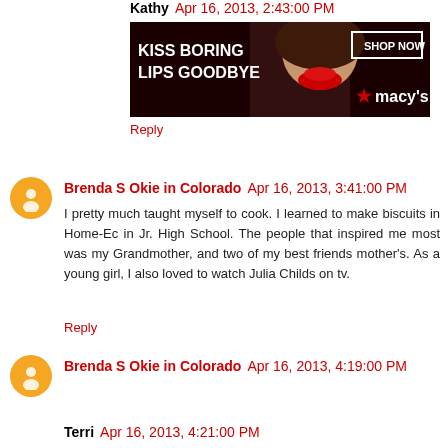Kathy  Apr 16, 2013, 2:43:00 PM
[Figure (photo): Macy's advertisement banner: 'KISS BORING LIPS GOODBYE' with woman's face and red lips, SHOP NOW button, Macy's star logo]
Reply
Brenda S Okie in Colorado  Apr 16, 2013, 3:41:00 PM
I pretty much taught myself to cook. I learned to make biscuits in Home-Ec in Jr. High School. The people that inspired me most was my Grandmother, and two of my best friends mother's. As a young girl, I also loved to watch Julia Childs on tv.
Reply
Brenda S Okie in Colorado  Apr 16, 2013, 4:19:00 PM
Terri  Apr 16, 2013, 4:21:00 PM